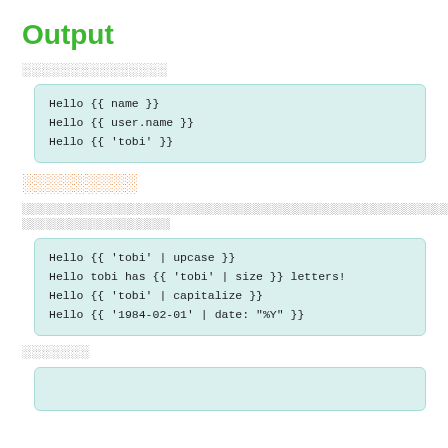Output
░░░░░░░░░░░░░░░
[Figure (other): Code block: Hello {{ name }}
Hello {{ user.name }}
Hello {{ 'tobi' }}]
░░░░░░░░░
░░░░░░░░░░░░░░░░░░░░░░░░░░░░░░░░░░░░░░░░░░░░░░░░░░░░░░░░░░░░░░░░░░░░░░░░░░░░░░░░░░░░░░░░░░░░░ ░░░░░░░░░░░░░░░░░░░
[Figure (other): Code block: Hello {{ 'tobi' | upcase }}
Hello tobi has {{ 'tobi' | size }} letters!
Hello {{ 'tobi' | capitalize }}
Hello {{ '1984-02-01' | date: "%Y" }}]
░░░░░░░
[Figure (other): Code block (partial, cut off)]